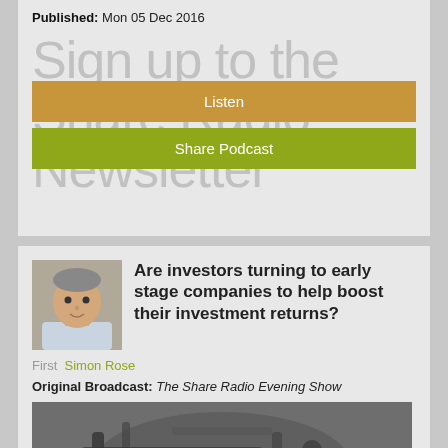Published: Mon 05 Dec 2016
Sign up to the Share Radio Newsletter
Listen
Share Podcast
Are investors turning to early stage companies to help boost their investment returns?
Simon Rose
Original Broadcast: The Share Radio Evening Show
[Figure (photo): Black and white photo of bicycle parts/frame, close-up]
Email address